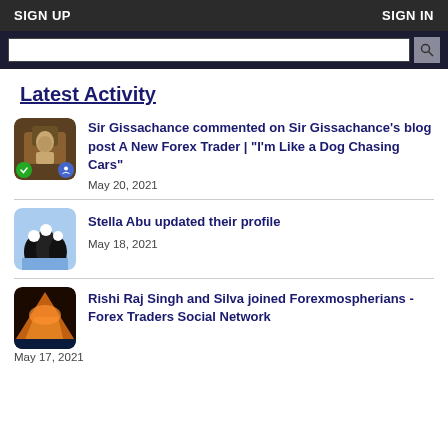SIGN UP   SIGN IN
Latest Activity
Sir Gissachance commented on Sir Gissachance's blog post A New Forex Trader | "I'm Like a Dog Chasing Cars"
May 20, 2021
Stella Abu updated their profile
May 18, 2021
Rishi Raj Singh and Silva joined Forexmospherians - Forex Traders Social Network
May 17, 2021